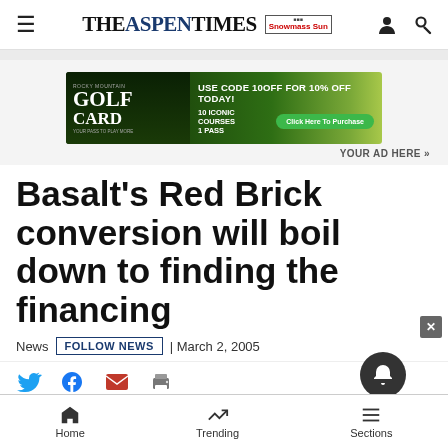THE ASPEN TIMES | Snowmass Sun
[Figure (photo): Rocky Mountain Golf Card advertisement banner: USE CODE 10OFF FOR 10% OFF TODAY! 10 ICONIC COURSES 1 PASS. Click Here To Purchase.]
YOUR AD HERE »
Basalt's Red Brick conversion will boil down to finding the financing
News  FOLLOW NEWS  | March 2, 2005
Home  Trending  Sections